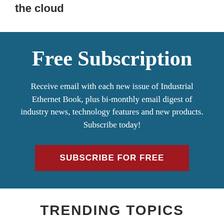the cloud
Free Subscription
Receive email with each new issue of Industrial Ethernet Book, plus bi-monthly email digest of industry news, technology features and new products. Subscribe today!
SUBSCRIBE FOR FREE
TRENDING TOPICS